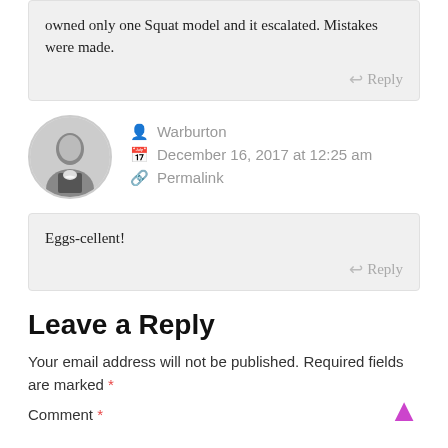owned only one Squat model and it escalated. Mistakes were made.
Reply
Warburton
December 16, 2017 at 12:25 am
Permalink
Eggs-cellent!
Reply
Leave a Reply
Your email address will not be published. Required fields are marked *
Comment *